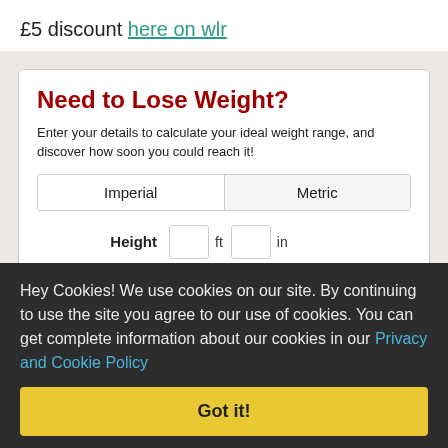£5 discount here on wlr
Need to Lose Weight?
Enter your details to calculate your ideal weight range, and discover how soon you could reach it!
| Imperial | Metric |
| --- | --- |
Height  ft  in
Hey Cookies! We use cookies on our site. By continuing to use the site you agree to our use of cookies. You can get complete information about our cookies in our Privacy and Cookie Policy
Got it!